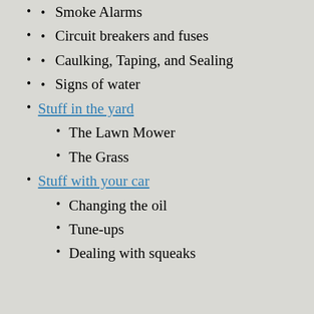Smoke Alarms
Circuit breakers and fuses
Caulking, Taping, and Sealing
Signs of water
Stuff in the yard
The Lawn Mower
The Grass
Stuff with your car
Changing the oil
Tune-ups
Dealing with squeaks
Stuff Around the House
Heating and Air Conditioning Filters